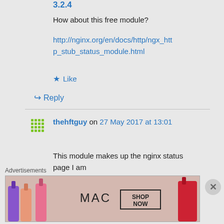How about this free module?
http://nginx.org/en/docs/http/ngx_http_stub_status_module.html
★ Like
↪ Reply
thehftguy on 27 May 2017 at 13:01
This module makes up the nginx status page I am
Advertisements
[Figure (photo): MAC cosmetics advertisement showing lipsticks with SHOP NOW button]